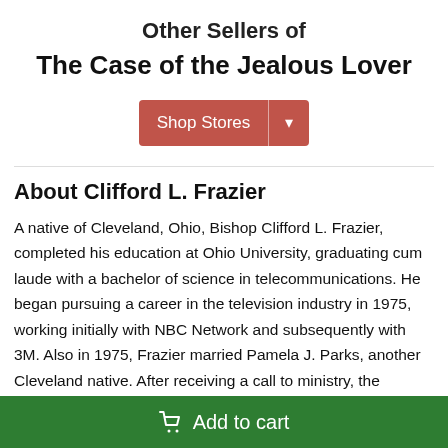Other Sellers of
The Case of the Jealous Lover
[Figure (other): Red 'Shop Stores' dropdown button with divider and chevron arrow]
About Clifford L. Frazier
A native of Cleveland, Ohio, Bishop Clifford L. Frazier, completed his education at Ohio University, graduating cum laude with a bachelor of science in telecommunications. He began pursuing a career in the television industry in 1975, working initially with NBC Network and subsequently with 3M. Also in 1975, Frazier married Pamela J. Parks, another Cleveland native. After receiving a call to ministry, the Fraziers
Add to cart